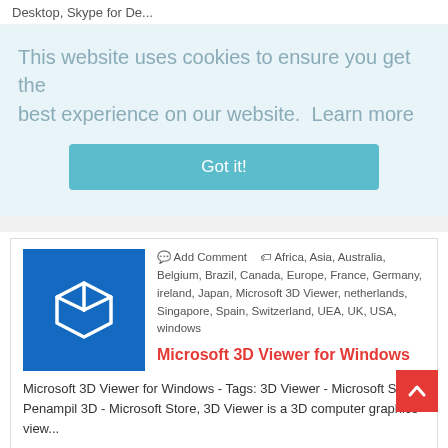Desktop, Skype for De...
This website uses cookies to ensure you get the best experience on our website.  Learn more
Got it!
🗨 Add Comment  🏷 Africa, Asia, Australia, Belgium, Brazil, Canada, Europe, France, Germany, ireland, Japan, Microsoft 3D Viewer, netherlands, Singapore, Spain, Switzerland, UEA, UK, USA, windows
Microsoft 3D Viewer for Windows
Microsoft 3D Viewer for Windows - Tags: 3D Viewer - Microsoft Store, Penampil 3D - Microsoft Store, 3D Viewer is a 3D computer graphics view...
READ MORE ▸
🗨 Add Comment  🏷 ActivePresenter, Africa, Asia